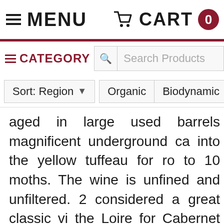MENU   CART 0
CATEGORY   Search Products
Sort: Region   Organic   Biodynamic   L
aged in large used barrels magnificent underground ca into the yellow tuffeau for ro to 10 moths. The wine is unfined and unfiltered. 2 considered a great classic vi the Loire for Cabernet Franc